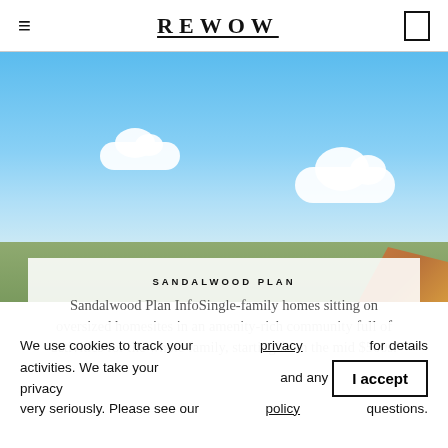REWOW
[Figure (photo): Hero image of residential homes with blue sky and white clouds. Rooftop visible in bottom right. Green foliage in foreground.]
SANDALWOOD PLAN
Sandalwood Plan InfoSingle-family homes sitting on oversized homesites in an amenity-rich community full of activities for the whole family, starting from the mid $500s.
We use cookies to track your activities. We take your privacy very seriously. Please see our privacy policy for details and any questions. I accept